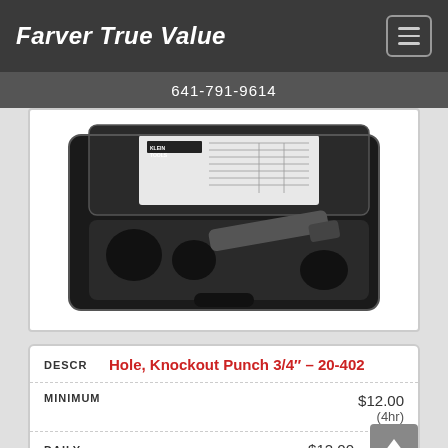Farver True Value
641-791-9614
[Figure (photo): Knockout punch tool set in open black carrying case with Klein Tools branding, showing punch dies and driver bar]
| DESCR | MINIMUM | DAILY | WEEKLY |
| --- | --- | --- | --- |
| Hole, Knockout Punch 3/4" – 20-402 |  |  |  |
|  | $12.00 (4hr) | $12.00 | $60.00 |